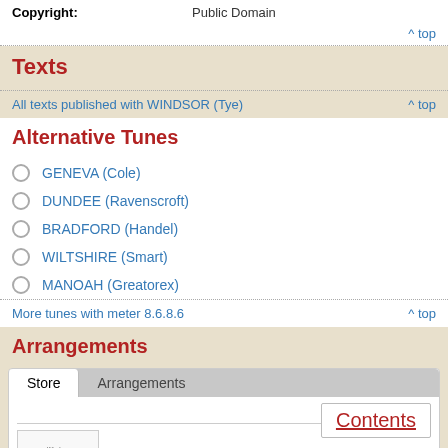Copyright: Public Domain
^ top
Texts
All texts published with WINDSOR (Tye)
^ top
Alternative Tunes
GENEVA (Cole)
DUNDEE (Ravenscroft)
BRADFORD (Handel)
WILTSHIRE (Smart)
MANOAH (Greatorex)
More tunes with meter 8.6.8.6
^ top
Arrangements
Store   Arrangements
Contents
Piano/Organ